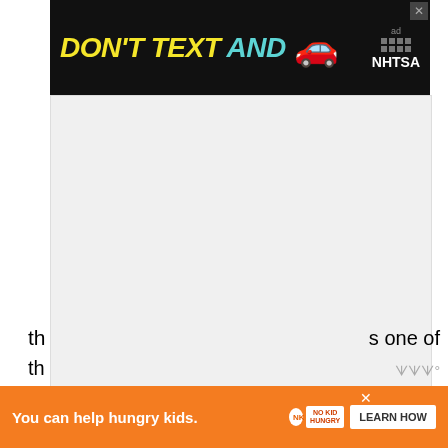[Figure (screenshot): Advertisement banner: 'DON'T TEXT AND' with car emoji and NHTSA logo on dark background]
[Figure (screenshot): Large gray advertisement placeholder block with Wordstream logo watermark]
4. Rent a bicycle
Ayutthaya is the perfect city for moving around by bicycle. You can rent a bicycle for THB 50 ($1.5) for the whole day. You can even get it for free through your accommodation (some places offer th... s one of th...
[Figure (screenshot): What's Next overlay thumbnail with label '10 Cool Things to do...']
[Figure (screenshot): Orange bottom advertisement: 'You can help hungry kids.' with No Kid Hungry badge and Learn How button]